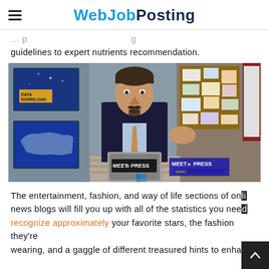WebJobPosting
guidelines to expert nutrients recommendation.
[Figure (photo): A man in a dark suit sitting at a desk with a 'Meet the Press' sign, in a TV studio with screens showing 'Data Download' and a US map in the background.]
The entertainment, fashion, and way of life sections of online news blogs will fill you up with all of the statistics you need to recognize approximately your favorite stars, the fashion they're wearing, and a gaggle of different treasured hints to enhance